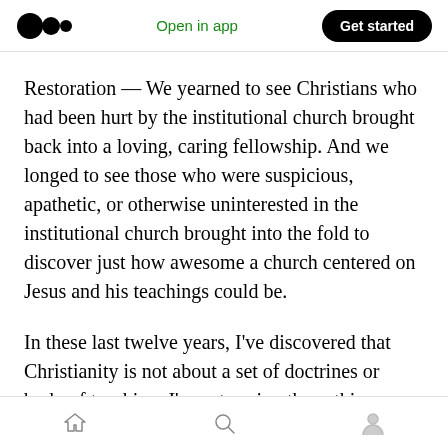Open in app | Get started
Restoration — We yearned to see Christians who had been hurt by the institutional church brought back into a loving, caring fellowship. And we longed to see those who were suspicious, apathetic, or otherwise uninterested in the institutional church brought into the fold to discover just how awesome a church centered on Jesus and his teachings could be.
In these last twelve years, I've discovered that Christianity is not about a set of doctrines or body of teaching. I'm not saying those things
Home | Search | Profile